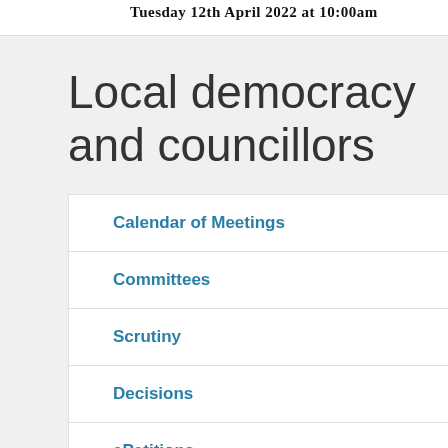Tuesday 12th April 2022 at 10:00am
Local democracy and councillors
Calendar of Meetings
Committees
Scrutiny
Decisions
ePetitions